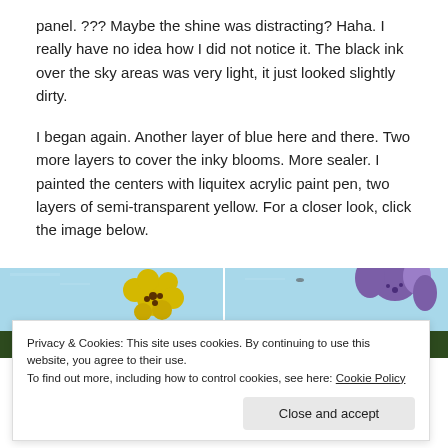panel. ??? Maybe the shine was distracting? Haha. I really have no idea how I did not notice it. The black ink over the sky areas was very light, it just looked slightly dirty.
I began again. Another layer of blue here and there. Two more layers to cover the inky blooms. More sealer. I painted the centers with liquitex acrylic paint pen, two layers of semi-transparent yellow. For a closer look, click the image below.
[Figure (photo): Two side-by-side artwork photos: left shows a yellow flower on light blue background; right shows a purple flower on light blue background. Both images have 'Delgado.' text at the bottom.]
Privacy & Cookies: This site uses cookies. By continuing to use this website, you agree to their use.
To find out more, including how to control cookies, see here: Cookie Policy
Close and accept